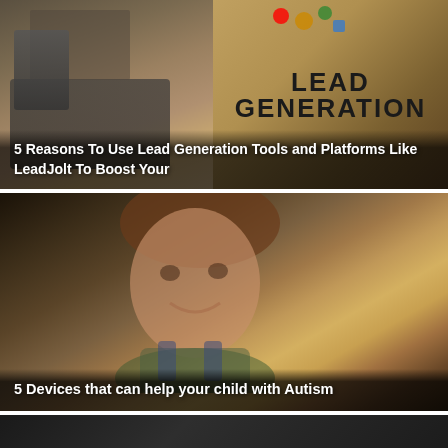[Figure (photo): Article card image showing a laptop/desk scene on the left and a 'LEAD GENERATION' graphic on the right, with white title text overlaid]
5 Reasons To Use Lead Generation Tools and Platforms Like LeadJolt To Boost Your
[Figure (photo): Article card image showing a young child (toddler) smiling at the camera, wearing a green shirt and denim overalls, with title text overlaid at the bottom]
5 Devices that can help your child with Autism
[Figure (photo): Partial article card image showing a dark/dimly lit scene at the bottom of the page]